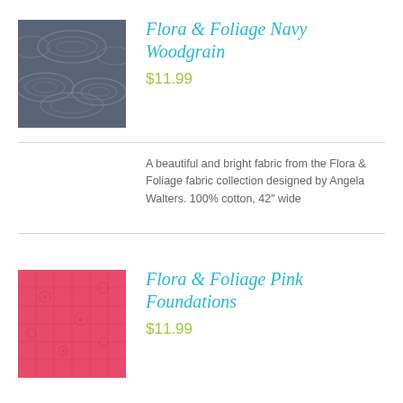[Figure (photo): Navy blue fabric swatch with swirling woodgrain/wave pattern]
Flora & Foliage Navy Woodgrain
$11.99
A beautiful and bright fabric from the Flora & Foliage fabric collection designed by Angela Walters. 100% cotton, 42" wide
[Figure (photo): Pink/coral fabric swatch with subtle floral/leaf quilted texture]
Flora & Foliage Pink Foundations
$11.99